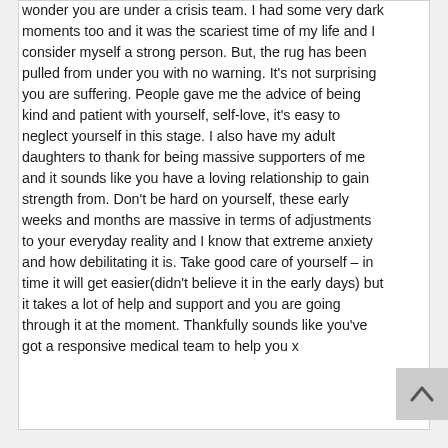wonder you are under a crisis team. I had some very dark moments too and it was the scariest time of my life and I consider myself a strong person. But, the rug has been pulled from under you with no warning. It's not surprising you are suffering. People gave me the advice of being kind and patient with yourself, self-love, it's easy to neglect yourself in this stage. I also have my adult daughters to thank for being massive supporters of me and it sounds like you have a loving relationship to gain strength from. Don't be hard on yourself, these early weeks and months are massive in terms of adjustments to your everyday reality and I know that extreme anxiety and how debilitating it is. Take good care of yourself – in time it will get easier(didn't believe it in the early days) but it takes a lot of help and support and you are going through it at the moment. Thankfully sounds like you've got a responsive medical team to help you x